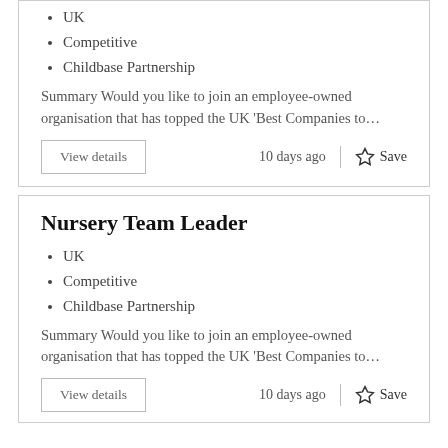UK
Competitive
Childbase Partnership
Summary Would you like to join an employee-owned organisation that has topped the UK 'Best Companies to…
View details
10 days ago
Save
Nursery Team Leader
UK
Competitive
Childbase Partnership
Summary Would you like to join an employee-owned organisation that has topped the UK 'Best Companies to…
View details
10 days ago
Save